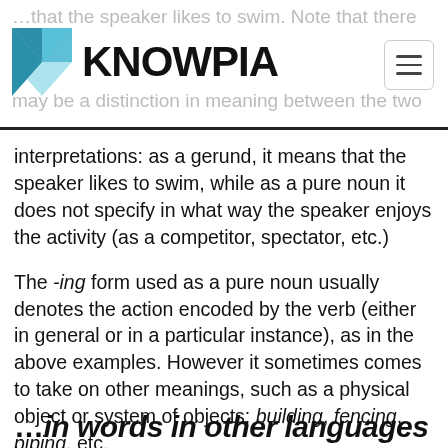KNOWPIA
interpretations: as a gerund, it means that the speaker likes to swim, while as a pure noun it does not specify in what way the speaker enjoys the activity (as a competitor, spectator, etc.)
The -ing form used as a pure noun usually denotes the action encoded by the verb (either in general or in a particular instance), as in the above examples. However it sometimes comes to take on other meanings, such as a physical object or system of objects: building, fencing, piping, etc.
For more information on the uses of non-finite verbs and verbal nouns, see Uses of non-finite verbs in English.
…in words in other languages